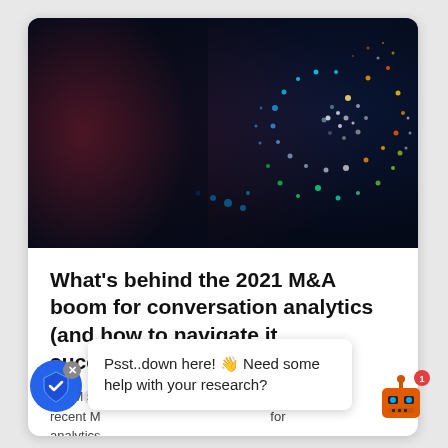[Figure (photo): Abstract digital art showing a swirling pattern of glowing colorful dots against a dark background, suggesting AI or data visualization themes]
What's behind the 2021 M&A boom for conversation analytics (and how to navigate it successfully)
CallMiner ... the recent M... for analytics...
[Figure (screenshot): Chat widget overlay with text 'Psst..down here! 👋 Need some help with your research?' and a robot icon with notification badge]